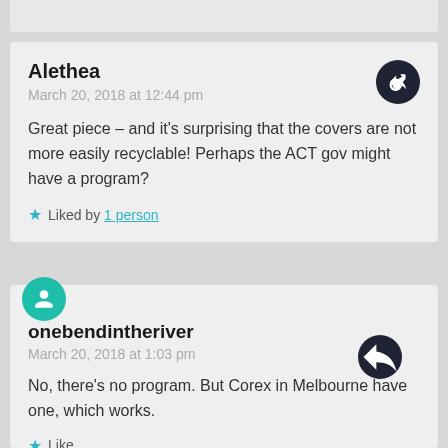Alethea
March 20, 2018 at 12:44 pm

Great piece – and it's surprising that the covers are not more easily recyclable! Perhaps the ACT gov might have a program?

Liked by 1 person
onebendintheriver
March 20, 2018 at 1:03 pm

No, there's no program. But Corex in Melbourne have one, which works.

Like